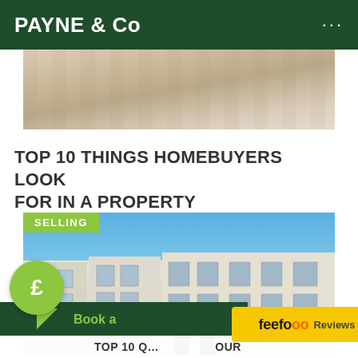PAYNE & Co
[Figure (photo): Interior room photo showing wooden flooring, cropped top portion visible]
TOP 10 THINGS HOMEBUYERS LOOK FOR IN A PROPERTY
[Figure (photo): Row of tall Victorian/Georgian terraced houses with white/cream facades against a blue sky. Green SELLING badge overlaid in top-left corner.]
Book a
feefo Reviews
TOP 10 Q... OUR